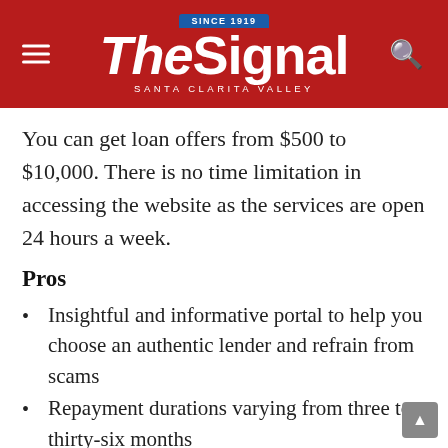The Signal — Santa Clarita Valley (Since 1919)
You can get loan offers from $500 to $10,000. There is no time limitation in accessing the website as the services are open 24 hours a week.
Pros
Insightful and informative portal to help you choose an authentic lender and refrain from scams
Repayment durations varying from three to thirty-six months
Secure files and data encryption technology